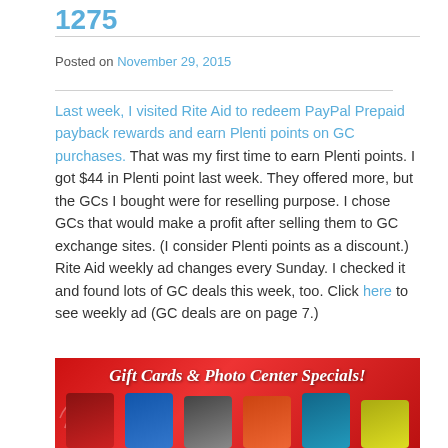1275
Posted on November 29, 2015
Last week, I visited Rite Aid to redeem PayPal Prepaid payback rewards and earn Plenti points on GC purchases. That was my first time to earn Plenti points. I got $44 in Plenti point last week. They offered more, but the GCs I bought were for reselling purpose. I chose GCs that would make a profit after selling them to GC exchange sites. (I consider Plenti points as a discount.) Rite Aid weekly ad changes every Sunday. I checked it and found lots of GC deals this week, too. Click here to see weekly ad (GC deals are on page 7.)
[Figure (photo): Banner advertisement for Gift Cards & Photo Center Specials at Rite Aid showing various gift cards on a red background]